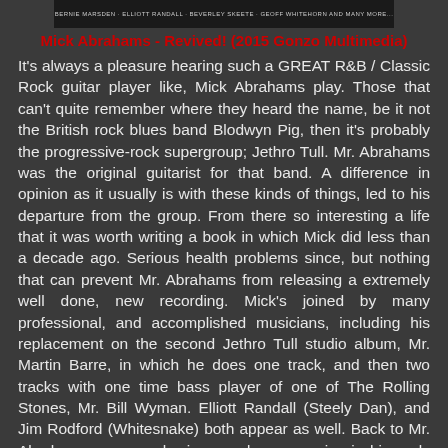[Figure (photo): Dark banner image with text listing musicians: Bernie Marsden, Elliott Randall, Beverley Skeete, Geoff Whitehorn and many more.]
Mick Abrahams - Revived! (2015 Gonzo Multimedia)
It's always a pleasure hearing such a GREAT R&B / Classic Rock guitar player like, Mick Abrahams play. Those that can't quite remember where they heard the name, be it not the British rock blues band Blodwyn Pig, then it's probably the progressive-rock supergroup; Jethro Tull. Mr. Abrahams was the original guitarist for that band. A difference in opinion as it usually is with these kinds of things, led to his departure from the group. From there so interesting a life that it was worth writing a book in which Mick did less than a decade ago. Serious health problems since, but nothing that can prevent Mr. Abrahams from releasing a extremely well done, new recording. Mick's joined by many professional, and accomplished musicians, including his replacement on the second Jethro Tull studio album, Mr. Martin Barre, in which he does one track, and then two tracks with one time bass player of one of The Rolling Stones, Mr. Bill Wyman. Elliott Randall (Steely Dan), and Jim Rodford (Whitesnake) both appear as well. Back to Mr. Abrahams, a man who is nowadays age wise in his early seventies, and at this stage in his life, having the common afflictions one would expect